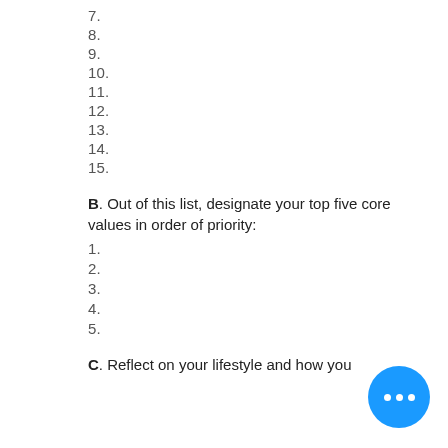7.
8.
9.
10.
11.
12.
13.
14.
15.
B. Out of this list, designate your top five core values in order of priority:
1.
2.
3.
4.
5.
C. Reflect on your lifestyle and how you